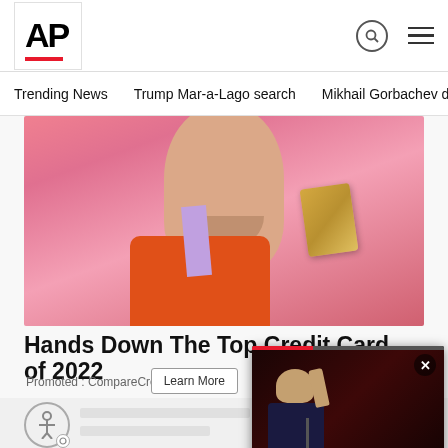[Figure (logo): AP (Associated Press) logo with black bold AP text and red underline bar]
Trending News    Trump Mar-a-Lago search    Mikhail Gorbachev d
[Figure (photo): Woman smiling holding a credit card in front of pink background, wearing orange top]
Hands Down The Top Credit Card of 2022
Promoted : CompareCredit.com
[Figure (screenshot): Video popup overlay showing Biden speaking at podium with caption 'Biden sounds new... strong alarm: Trumpism menace...' and red progress bar and X close button]